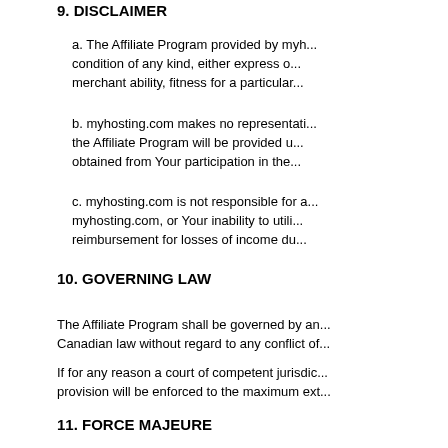9.  DISCLAIMER
a. The Affiliate Program provided by myh... condition of any kind, either express o... merchant ability, fitness for a particular...
b. myhosting.com makes no representati... the Affiliate Program will be provided u... obtained from Your participation in the...
c. myhosting.com is not responsible for a... myhosting.com, or Your inability to utili... reimbursement for losses of income du...
10.  GOVERNING LAW
The Affiliate Program shall be governed by an... Canadian law without regard to any conflict of...
If for any reason a court of competent jurisdic... provision will be enforced to the maximum ext...
11. FORCE MAJEURE
myhosting.com shall not be liable for any failu... its reasonable control, including, without limita... myhosting.com, labor strikes or shortages, rio... governmental action, labor conditions, earthq...
Affiliate Manager Contact Information